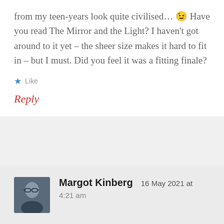from my teen-years look quite civilised… 😉 Have you read The Mirror and the Light? I haven't got around to it yet – the sheer size makes it hard to fit in – but I must. Did you feel it was a fitting finale?
★ Like
Reply
Margot Kinberg   16 May 2021 at
4:21 am